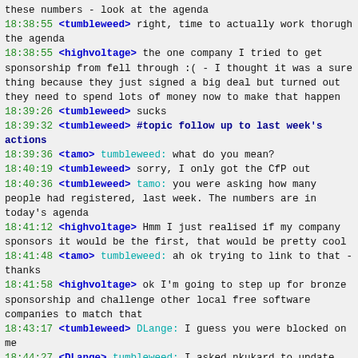these numbers - look at the agenda
18:38:55 <tumbleweed> right, time to actually work thorugh the agenda
18:38:55 <highvoltage> the one company I tried to get sponsorship from fell through :( - I thought it was a sure thing because they just signed a big deal but turned out they need to spend lots of money now to make that happen
18:39:26 <tumbleweed> sucks
18:39:32 <tumbleweed> #topic follow up to last week's actions
18:39:36 <tamo> tumbleweed: what do you mean?
18:40:19 <tumbleweed> sorry, I only got the CfP out
18:40:36 <tumbleweed> tamo: you were asking how many people had registered, last week. The numbers are in today's agenda
18:41:12 <highvoltage> Hmm I just realised if my company sponsors it would be the first, that would be pretty cool
18:41:48 <tamo> tumbleweed: ah ok trying to link to that - thanks
18:41:58 <highvoltage> ok I'm going to step up for bronze sponsorship and challenge other local free software companies to match that
18:43:17 <tumbleweed> DLange: I guess you were blocked on me
18:44:27 <DLange> tumbleweed: I asked nkukard to update the budget (he will) and sent the invoice to SPI (you're on CC)
18:44:30 <KGB-1> □□03Jerome Charaoui□ □05master□